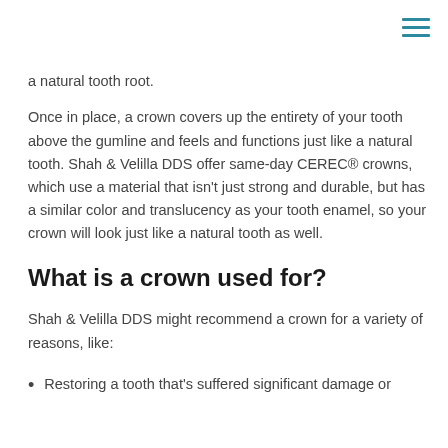menu icon (navigation hamburger)
a natural tooth root.
Once in place, a crown covers up the entirety of your tooth above the gumline and feels and functions just like a natural tooth. Shah & Velilla DDS offer same-day CEREC® crowns, which use a material that isn't just strong and durable, but has a similar color and translucency as your tooth enamel, so your crown will look just like a natural tooth as well.
What is a crown used for?
Shah & Velilla DDS might recommend a crown for a variety of reasons, like:
Restoring a tooth that's suffered significant damage or